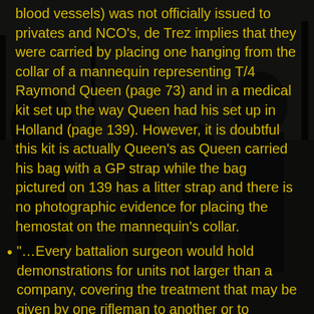[Figure (photo): Black and white photograph of WWII soldiers marching along a road through a wooded area, wearing helmets and carrying equipment. Dark, moody tone with heavy shadow overlay.]
blood vessels) was not officially issued to privates and NCO's, de Trez implies that they were carried by placing one hanging from the collar of a mannequin representing T/4 Raymond Queen (page 73) and in a medical kit set up the way Queen had his set up in Holland (page 139). However, it is doubtful this kit is actually Queen's as Queen carried his bag with a GP strap while the bag pictured on 139 has a litter strap and there is no photographic evidence for placing the hemostat on the mannequin's collar.
"…Every battalion surgeon would hold demonstrations for units not larger than a company, covering the treatment that may be given by one rifleman to another or to himself, with the available medical items he carried. The